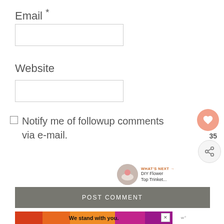Email *
Website
Notify me of followup comments via e-mail.
POST COMMENT
[Figure (screenshot): We stand with you. advertisement banner with colored stripes]
WHAT'S NEXT → DIY Flower Top Trinket...